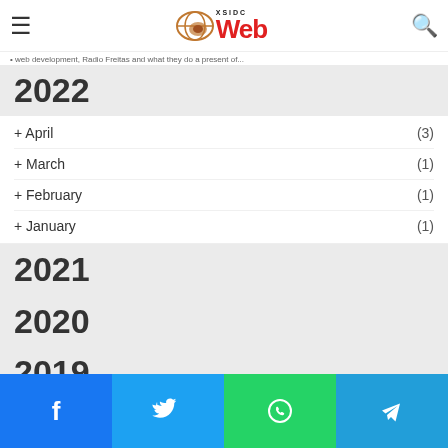XSIDC Web
web development, Radio Freitas and what they do a present of...
2022
+ April (3)
+ March (1)
+ February (1)
+ January (1)
2021
2020
2019
2018
Facebook Twitter WhatsApp Telegram